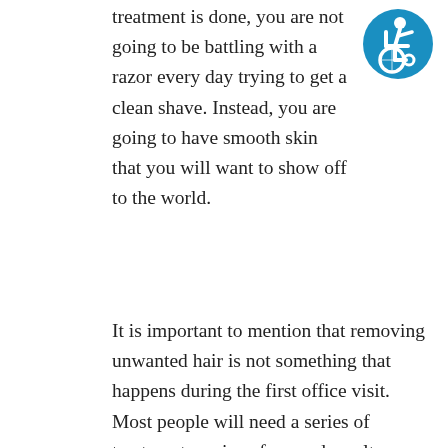treatment is done, you are not going to be battling with a razor every day trying to get a clean shave. Instead, you are going to have smooth skin that you will want to show off to the world.
[Figure (illustration): Blue circular accessibility/wheelchair icon — white figure in wheelchair on blue background]
It is important to mention that removing unwanted hair is not something that happens during the first office visit. Most people will need a series of treatment sessions for good results. However, after their treatments are over, they can enjoy their results for a long time.
A few months after your treatment sessions are complete, some patients will notice that some of the unwanted hair has grown back. However, compared to the amount of hair they had growing